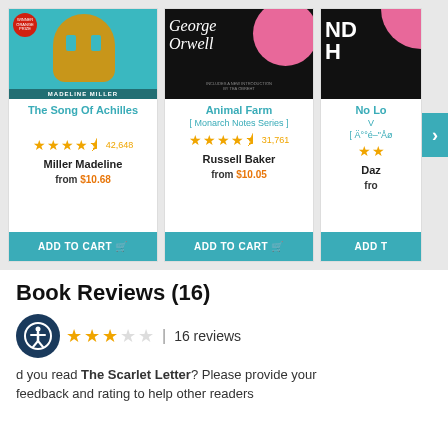[Figure (screenshot): Book store product cards showing: 'The Song Of Achilles' by Miller Madeline, 4.5 stars, 42,648 reviews, from $10.68; 'Animal Farm [Monarch Notes Series]' by Russell Baker, 4.5 stars, 31,761 reviews, from $10.05; a partial third book card with ADD TO CART buttons. A navigation arrow is overlaid on the right.]
Book Reviews (16)
16 reviews
d you read The Scarlet Letter? Please provide your feedback and rating to help other readers